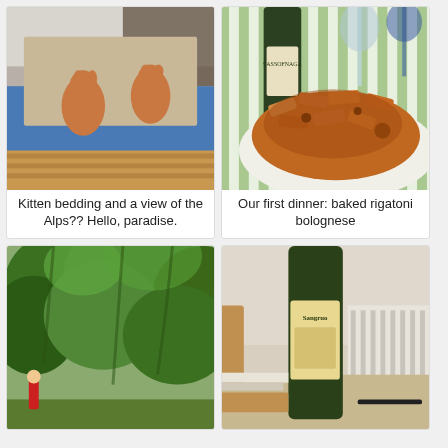[Figure (photo): Photo of a bed with kitten-printed bedding/duvet, with orange tabby cats printed on it, blue bedding visible, striped mattress edge at bottom, room with white walls]
Kitten bedding and a view of the Alps?? Hello, paradise.
[Figure (photo): Photo of a plate of baked rigatoni bolognese pasta with meat sauce, a wine bottle labeled Sassofnaga and wine glasses visible in background on a green striped tablecloth]
Our first dinner: baked rigatoni bolognese
[Figure (photo): Photo of a person in a red shirt standing among tall lush green trees and foliage outdoors]
[Figure (photo): Photo of a wine bottle labeled Sangruo on a table with papers, books, and a radiator visible in background]